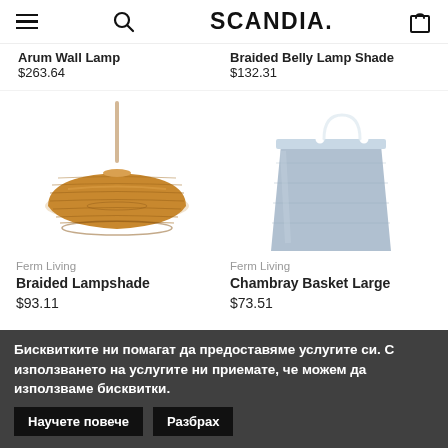SCANDIA.
Arum Wall Lamp
$263.64
Braided Belly Lamp Shade
$132.31
[Figure (photo): Braided woven rattan lampshade with a thin wooden or metal rod extending upward from center, warm natural tan color]
Ferm Living
Braided Lampshade
$93.11
[Figure (photo): Light blue/grey felt fabric bucket-style basket with white leather handle loop at top, simple cylindrical shape]
Ferm Living
Chambray Basket Large
$73.51
Бисквитките ни помагат да предоставяме услугите си. С използването на услугите ни приемате, че можем да използваме бисквитки. Научете повече  Разбрах